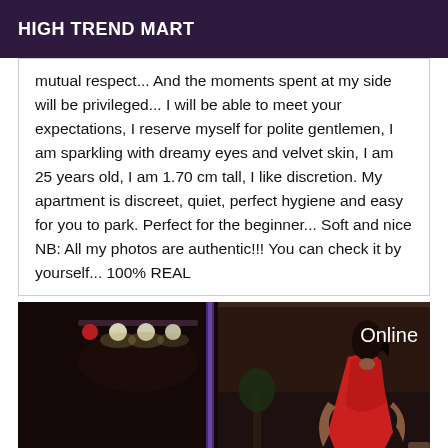HIGH TREND MART
mutual respect... And the moments spent at my side will be privileged... I will be able to meet your expectations, I reserve myself for polite gentlemen, I am sparkling with dreamy eyes and velvet skin, I am 25 years old, I am 1.70 cm tall, I like discretion. My apartment is discreet, quiet, perfect hygiene and easy for you to park. Perfect for the beginner... Soft and nice NB: All my photos are authentic!!! You can check it by yourself... 100% REAL
[Figure (photo): Nightclub or outdoor lounge scene at night with stage lighting and spotlights on the left side, and a woman in a red dress standing on the right side. The word 'Online' appears in white text in the upper right corner of the photo.]